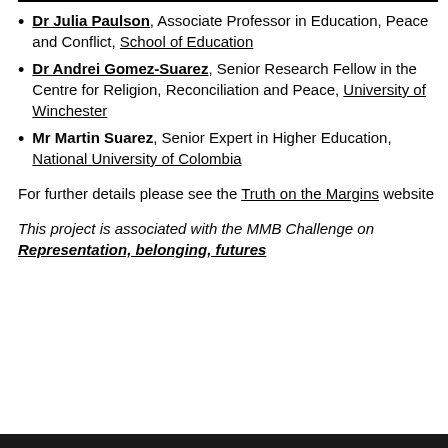Dr Julia Paulson, Associate Professor in Education, Peace and Conflict, School of Education
Dr Andrei Gomez-Suarez, Senior Research Fellow in the Centre for Religion, Reconciliation and Peace, University of Winchester
Mr Martin Suarez, Senior Expert in Higher Education, National University of Colombia
For further details please see the Truth on the Margins website
This project is associated with the MMB Challenge on Representation, belonging, futures